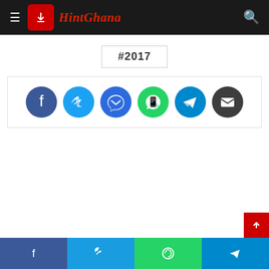[Figure (screenshot): HintGhana website header with hamburger menu, red logo box with download icon, HintGhana text logo in red italic, and search icon on dark background]
#2017
[Figure (infographic): Social share buttons row: Facebook (blue), Twitter (light blue), Messenger (dark blue), WhatsApp (green), Telegram (teal), Email (dark grey) circular icons]
[Figure (infographic): Bottom social share bar with Facebook, Twitter, WhatsApp, and Telegram buttons]